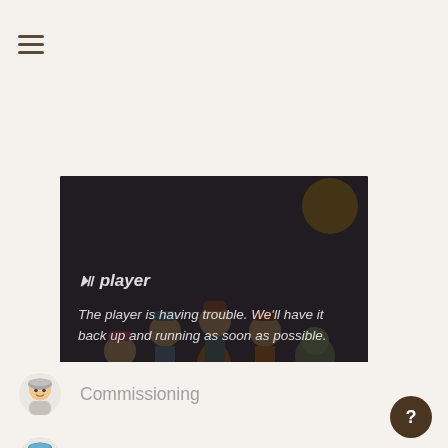[Figure (screenshot): Hamburger menu icon (three horizontal lines)]
[Figure (screenshot): Video player showing animated cartoon characters around a campfire with overlay text: player title and error message 'The player is having trouble. We'll have it back up and running as soon as possible.']
Commissioning
Dentistry
Education
Learning Disabilities
Mental Health